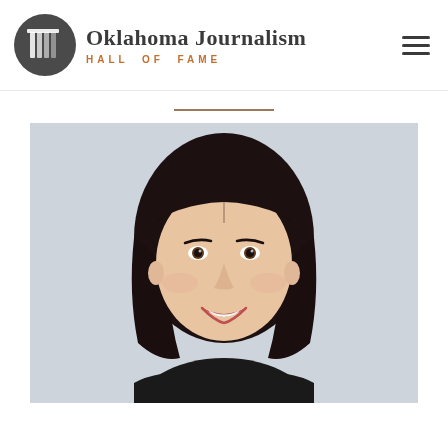Oklahoma Journalism HALL OF FAME
[Figure (photo): Portrait photo of a young woman with dark shoulder-length hair, smiling, against a light gray background, wearing a dark top.]